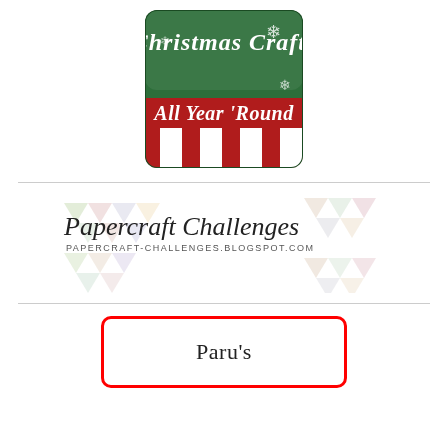[Figure (logo): Christmas Crafts All Year 'Round badge - green and red square badge with snowflakes and candy cane stripes, rounded corners]
[Figure (logo): Papercraft Challenges blog logo with colorful triangle pattern background and cursive text 'Papercraft Challenges' with URL papercraft-challenges.blogspot.com]
Paru's